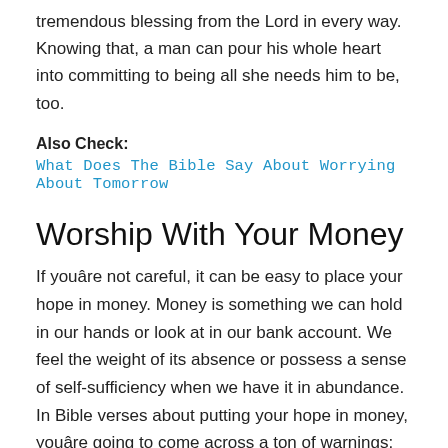tremendous blessing from the Lord in every way. Knowing that, a man can pour his whole heart into committing to being all she needs him to be, too.
Also Check:
What Does The Bible Say About Worrying About Tomorrow
Worship With Your Money
If youâre not careful, it can be easy to place your hope in money. Money is something we can hold in our hands or look at in our bank account. We feel the weight of its absence or possess a sense of self-sufficiency when we have it in abundance. In Bible verses about putting your hope in money, youâre going to come across a ton of warnings:
âBe careful!â